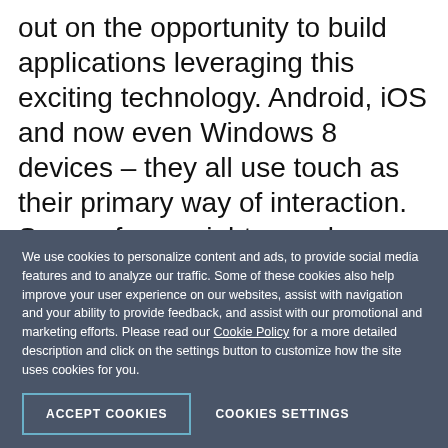out on the opportunity to build applications leveraging this exciting technology. Android, iOS and now even Windows 8 devices – they all use touch as their primary way of interaction. Some of you might even be reading this very post with one of these devices! What about your favorite set of ASP.NET AJAX controls?
Tap and touch are the new click
We use cookies to personalize content and ads, to provide social media features and to analyze our traffic. Some of these cookies also help improve your user experience on our websites, assist with navigation and your ability to provide feedback, and assist with our promotional and marketing efforts. Please read our Cookie Policy for a more detailed description and click on the settings button to customize how the site uses cookies for you.